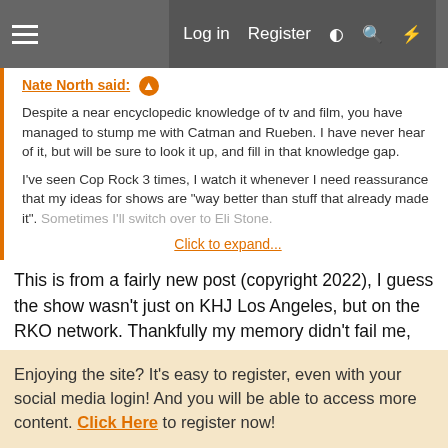Log in  Register
Nate North said:
Despite a near encyclopedic knowledge of tv and film, you have managed to stump me with Catman and Rueben. I have never hear of it, but will be sure to look it up, and fill in that knowledge gap.

I've seen Cop Rock 3 times, I watch it whenever I need reassurance that my ideas for shows are "way better than stuff that already made it". Sometimes I'll switch over to Eli Stone.

Click to expand...
This is from a fairly new post (copyright 2022), I guess the show wasn't just on KHJ Los Angeles, but on the RKO network. Thankfully my memory didn't fail me, the show was as bad as I remember, even for an easily impressed 13 year old. This line from the Long Beach's Independent Press-Telegram review is better than any line from the show... "Catman ventures forth
Enjoying the site? It's easy to register, even with your social media login! And you will be able to access more content. Click Here to register now!